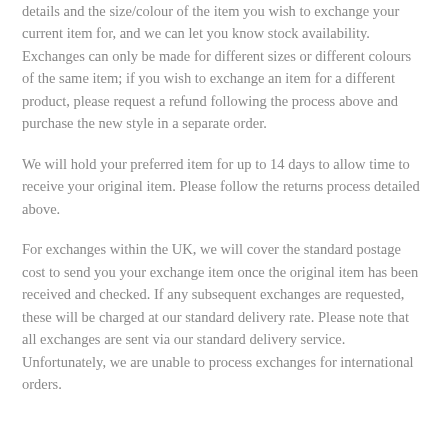details and the size/colour of the item you wish to exchange your current item for, and we can let you know stock availability. Exchanges can only be made for different sizes or different colours of the same item; if you wish to exchange an item for a different product, please request a refund following the process above and purchase the new style in a separate order.
We will hold your preferred item for up to 14 days to allow time to receive your original item. Please follow the returns process detailed above.
For exchanges within the UK, we will cover the standard postage cost to send you your exchange item once the original item has been received and checked. If any subsequent exchanges are requested, these will be charged at our standard delivery rate. Please note that all exchanges are sent via our standard delivery service. Unfortunately, we are unable to process exchanges for international orders.